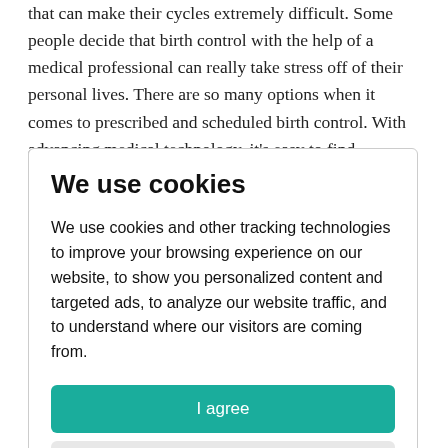that can make their cycles extremely difficult. Some people decide that birth control with the help of a medical professional can really take stress off of their personal lives. There are so many options when it comes to prescribed and scheduled birth control. With advancing medical technology, it's easy to find something that suits your needs. Some people prefer the daily pill that doctors can
We use cookies
We use cookies and other tracking technologies to improve your browsing experience on our website, to show you personalized content and targeted ads, to analyze our website traffic, and to understand where our visitors are coming from.